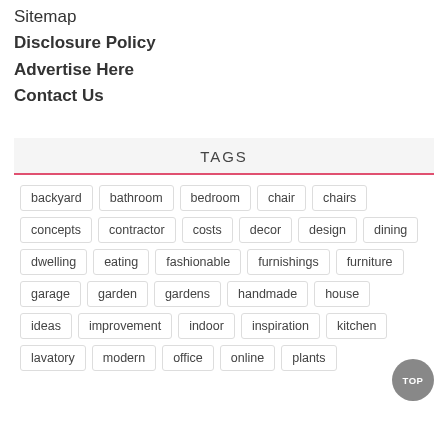Sitemap
Disclosure Policy
Advertise Here
Contact Us
TAGS
backyard bathroom bedroom chair chairs concepts contractor costs decor design dining dwelling eating fashionable furnishings furniture garage garden gardens handmade house ideas improvement indoor inspiration kitchen lavatory modern office online plants